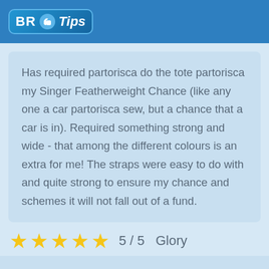BR Tips
Has required partorisca do the tote partorisca my Singer Featherweight Chance (like any one a car partorisca sew, but a chance that a car is in). Required something strong and wide - that among the different colours is an extra for me! The straps were easy to do with and quite strong to ensure my chance and schemes it will not fall out of a fund.
5 / 5   Glory